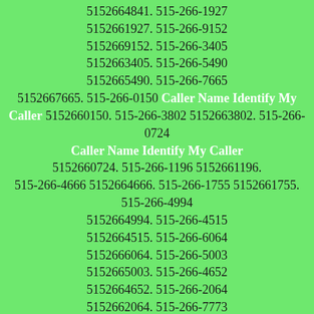5152664841. 515-266-1927 5152661927. 515-266-9152 5152669152. 515-266-3405 5152663405. 515-266-5490 5152665490. 515-266-7665 5152667665. 515-266-0150 Caller Name Identify My Caller 5152660150. 515-266-3802 5152663802. 515-266-0724 Caller Name Identify My Caller 5152660724. 515-266-1196 5152661196. 515-266-4666 5152664666. 515-266-1755 5152661755. 515-266-4994 5152664994. 515-266-4515 5152664515. 515-266-6064 5152666064. 515-266-5003 5152665003. 515-266-4652 5152664652. 515-266-2064 5152662064. 515-266-7773 5152667773. 515-266-5636 5152665636. 515-266-7089 5152667089. 515-266-5981 5152665981. 515-266-1451 5152661451. 515-266-6135 5152666135. 515-266-3350 5152663350. 515-266-1298